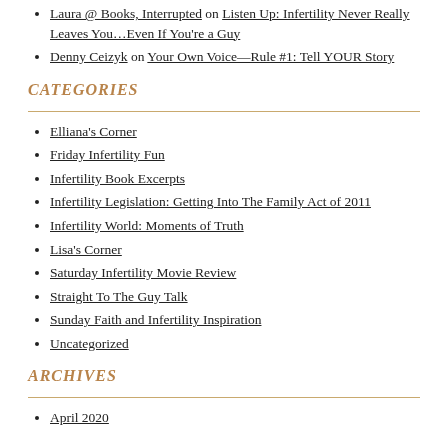Laura @ Books, Interrupted on Listen Up: Infertility Never Really Leaves You…Even If You're a Guy
Denny Ceizyk on Your Own Voice—Rule #1: Tell YOUR Story
CATEGORIES
Elliana's Corner
Friday Infertility Fun
Infertility Book Excerpts
Infertility Legislation: Getting Into The Family Act of 2011
Infertility World: Moments of Truth
Lisa's Corner
Saturday Infertility Movie Review
Straight To The Guy Talk
Sunday Faith and Infertility Inspiration
Uncategorized
ARCHIVES
April 2020